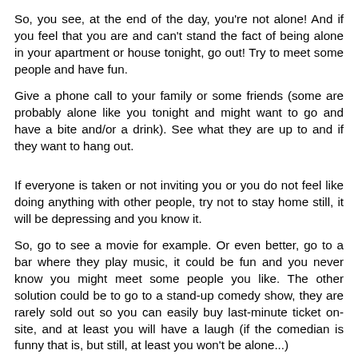So, you see, at the end of the day, you're not alone! And if you feel that you are and can't stand the fact of being alone in your apartment or house tonight, go out! Try to meet some people and have fun.
Give a phone call to your family or some friends (some are probably alone like you tonight and might want to go and have a bite and/or a drink). See what they are up to and if they want to hang out.
If everyone is taken or not inviting you or you do not feel like doing anything with other people, try not to stay home still, it will be depressing and you know it.
So, go to see a movie for example. Or even better, go to a bar where they play music, it could be fun and you never know you might meet some people you like. The other solution could be to go to a stand-up comedy show, they are rarely sold out so you can easily buy last-minute ticket on-site, and at least you will have a laugh (if the comedian is funny that is, but still, at least you won't be alone...)